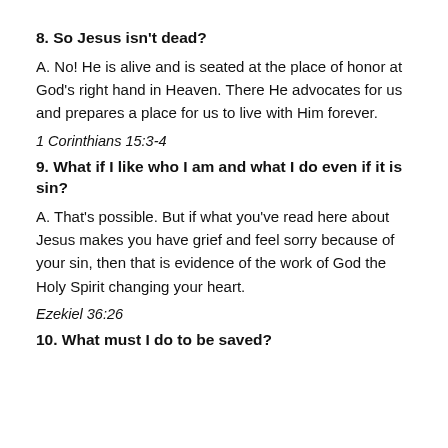8. So Jesus isn't dead?
A. No! He is alive and is seated at the place of honor at God's right hand in Heaven. There He advocates for us and prepares a place for us to live with Him forever.
1 Corinthians 15:3-4
9. What if I like who I am and what I do even if it is sin?
A. That's possible. But if what you've read here about Jesus makes you have grief and feel sorry because of your sin, then that is evidence of the work of God the Holy Spirit changing your heart.
Ezekiel 36:26
10. What must I do to be saved?